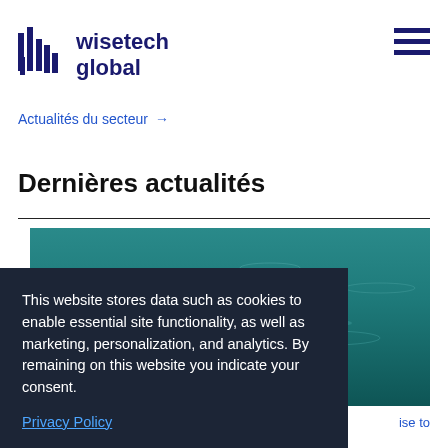wisetech global
Actualités du secteur →
Dernières actualités
[Figure (photo): Aerial view of teal/turquoise ocean water surface]
This website stores data such as cookies to enable essential site functionality, as well as marketing, personalization, and analytics. By remaining on this website you indicate your consent.
Privacy Policy
ise to
enable as to more digital force deliver